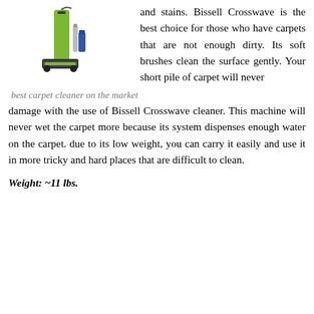[Figure (photo): A Bissell Crosswave vacuum/carpet cleaner machine shown with cleaning solution bottles beside it, in green and black colors.]
best carpet cleaner on the market
and stains. Bissell Crosswave is the best choice for those who have carpets that are not enough dirty. Its soft brushes clean the surface gently. Your short pile of carpet will never damage with the use of Bissell Crosswave cleaner. This machine will never wet the carpet more because its system dispenses enough water on the carpet. due to its low weight, you can carry it easily and use it in more tricky and hard places that are difficult to clean.
Weight: ~11 lbs.